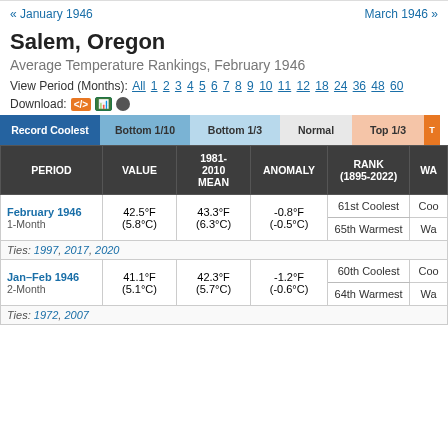« January 1946    March 1946 »
Salem, Oregon
Average Temperature Rankings, February 1946
View Period (Months): All 1 2 3 4 5 6 7 8 9 10 11 12 18 24 36 48 60
Download:
| PERIOD | VALUE | 1981-2010 MEAN | ANOMALY | RANK (1895-2022) | WA |
| --- | --- | --- | --- | --- | --- |
| February 1946 / 1-Month | 42.5°F (5.8°C) | 43.3°F (6.3°C) | -0.8°F (-0.5°C) | 61st Coolest | Coo |
|  |  |  |  | 65th Warmest | Wa |
|  | Ties: 1997, 2017, 2020 |  |  |  |  |
| Jan–Feb 1946 / 2-Month | 41.1°F (5.1°C) | 42.3°F (5.7°C) | -1.2°F (-0.6°C) | 60th Coolest | Coo |
|  |  |  |  | 64th Warmest | Wa |
|  | Ties: 1972, 2007 |  |  |  |  |